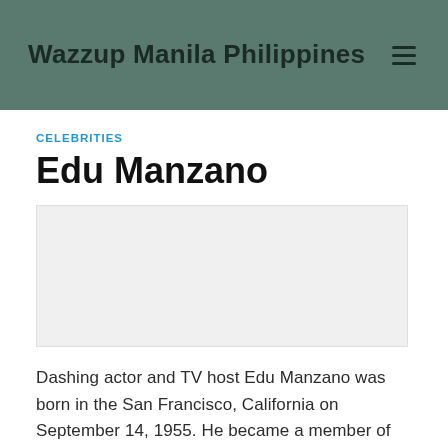Wazzup Manila Philippines
CELEBRITIES
Edu Manzano
[Figure (other): Advertisement placeholder area]
Dashing actor and TV host Edu Manzano was born in the San Francisco, California on September 14, 1955. He became a member of the U.S. military for four years then settled in the Philippines afterwards. Edu entered showbiz in the